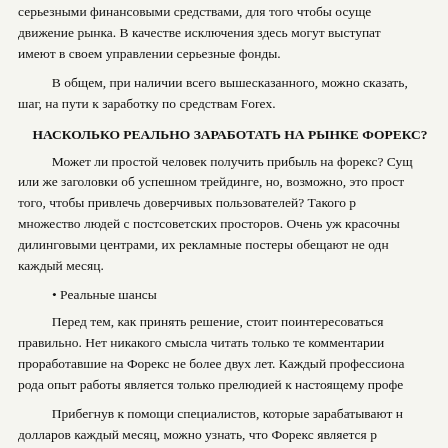серьезными финансовыми средствами, для того чтобы осущ… движение рынка. В качестве исключения здесь могут выступат… имеют в своем управлении серьезные фонды.
В общем, при наличии всего вышесказанного, можно сказать, … шаг, на пути к заработку по средствам Forex.
НАСКОЛЬКО РЕАЛЬНО ЗАРАБОТАТЬ НА РЫНКЕ ФОРЕКС?
Может ли простой человек получить прибыль на форекс? Сущ… или же заголовки об успешном трейдинге, но, возможно, это прост… того, чтобы привлечь доверчивых пользователей? Такого р… множество людей с постсоветских просторов. Очень уж красочны… дилинговыми центрами, их рекламные постеры обещают не одн… каждый месяц.
Реальные шансы
Перед тем, как принять решение, стоит поинтересоваться… правильно. Нет никакого смысла читать только те комментарии… проработавшие на Форекс не более двух лет. Каждый профессиона… рода опыт работы является только прелюдией к настоящему профе…
Прибегнув к помощи специалистов, которые зарабатывают н… долларов каждый месяц, можно узнать, что Форекс является р… достигнуть в жизни. Но способ этот дает результат не так быстро…